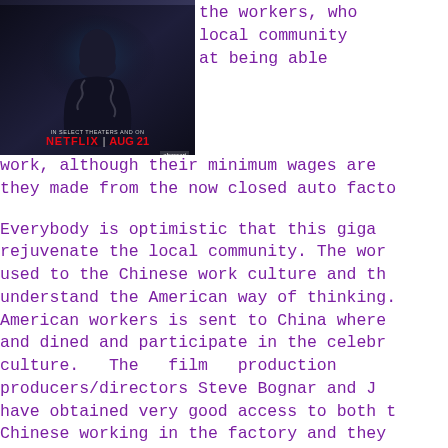[Figure (photo): Movie poster for a Netflix film, showing a figure with chains, text reading 'IN SELECT THEATERS' and 'NETFLIX | AUG 21', with a Sundance festival laurel badge in the corner]
the workers, who local community at being able work, although their minimum wages are they made from the now closed auto facto Everybody is optimistic that this giga rejuvenate the local community. The wor used to the Chinese work culture and th understand the American way of thinking. American workers is sent to China where and dined and participate in the celebr culture. The film production producers/directors Steve Bognar and J have obtained very good access to both t Chinese working in the factory and they the workers and their supervisors as their personal feelings. Things come